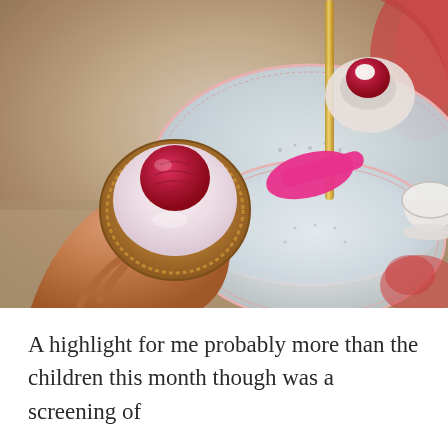[Figure (photo): A hand holding a small tart or tartlet topped with cream and a fresh raspberry. In the background is a tiered cake stand with a plate holding another raspberry pastry with cream, decorative floral plates, a pink spoon, and teacups. The setting appears to be an afternoon tea.]
A highlight for me probably more than the children this month though was a screening of